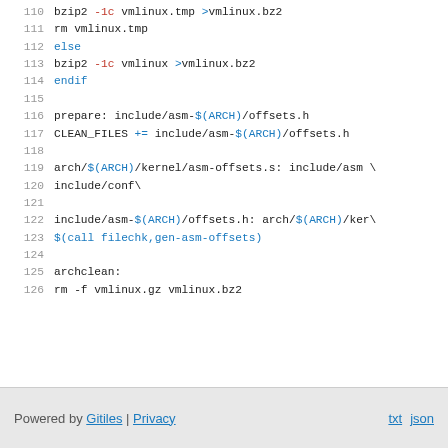110     bzip2 -1c vmlinux.tmp >vmlinux.bz2
111         rm vmlinux.tmp
112 else
113         bzip2 -1c vmlinux >vmlinux.bz2
114 endif
115
116 prepare: include/asm-$(ARCH)/offsets.h
117 CLEAN_FILES += include/asm-$(ARCH)/offsets.h
118
119 arch/$(ARCH)/kernel/asm-offsets.s: include/asm \
120                                         include/conf\
121
122 include/asm-$(ARCH)/offsets.h: arch/$(ARCH)/ker\
123         $(call filechk,gen-asm-offsets)
124
125 archclean:
126         rm -f vmlinux.gz vmlinux.bz2
Powered by Gitiles | Privacy    txt  json